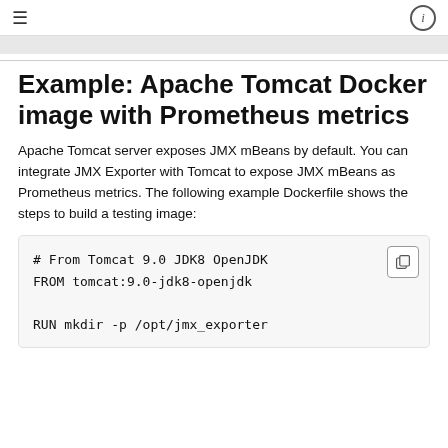≡  ⓘ
Example: Apache Tomcat Docker image with Prometheus metrics
Apache Tomcat server exposes JMX mBeans by default. You can integrate JMX Exporter with Tomcat to expose JMX mBeans as Prometheus metrics. The following example Dockerfile shows the steps to build a testing image:
# From Tomcat 9.0 JDK8 OpenJDK
FROM tomcat:9.0-jdk8-openjdk

RUN mkdir -p /opt/jmx_exporter